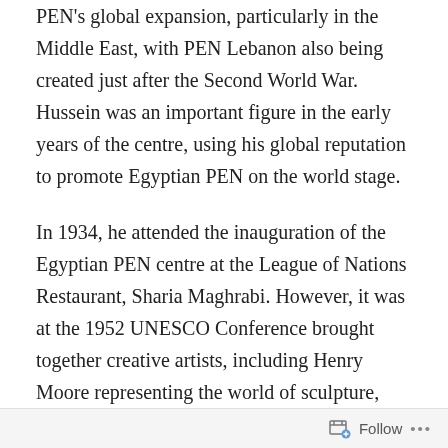PEN's global expansion, particularly in the Middle East, with PEN Lebanon also being created just after the Second World War. Hussein was an important figure in the early years of the centre, using his global reputation to promote Egyptian PEN on the world stage.
In 1934, he attended the inauguration of the Egyptian PEN centre at the League of Nations Restaurant, Sharia Maghrabi. However, it was at the 1952 UNESCO Conference brought together creative artists, including Henry Moore representing the world of sculpture, and Lucio Costa representing architecture that he made a mark. The conference issued declarations on artistic rights against discrimination on the grounds of 'political convictions'. But there were also fierce debates about
Follow ···